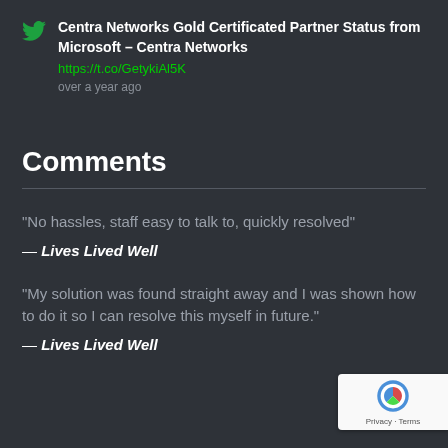Centra Networks Gold Certificated Partner Status from Microsoft – Centra Networks
https://t.co/GetykiAl5K
over a year ago
Comments
"No hassles, staff easy to talk to, quickly resolved"
— Lives Lived Well
"My solution was found straight away and I was shown how to do it so I can resolve this myself in future."
— Lives Lived Well
[Figure (logo): reCAPTCHA badge with Privacy and Terms text]